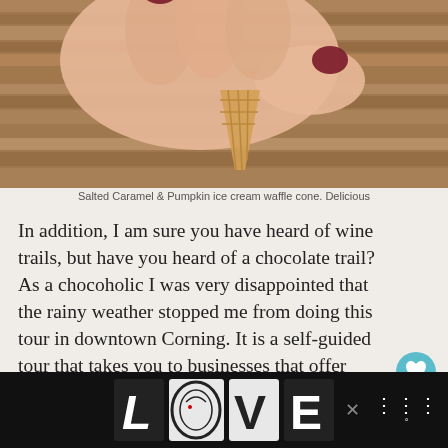[Figure (photo): Close-up photo of hands with dark red/maroon nail polish holding a waffle cone, with wooden slat background]
Salted Caramel & Pumpkin ice cream waffle cone. Delicious
In addition, I am sure you have heard of wine trails, but have you heard of a chocolate trail? As a chocoholic I was very disappointed that the rainy weather stopped me from doing this tour in downtown Corning. It is a self-guided tour that takes you to businesses that offer chocolate delights. These can be edible items like locally handcrafted chocolates and chocolate martinis, but also include nonedible items like chocolate candles. The Gaffer District also has a spa, a theater, a wine shop
[Figure (logo): LOVE advertisement banner in black and white illustrated style at bottom of page]